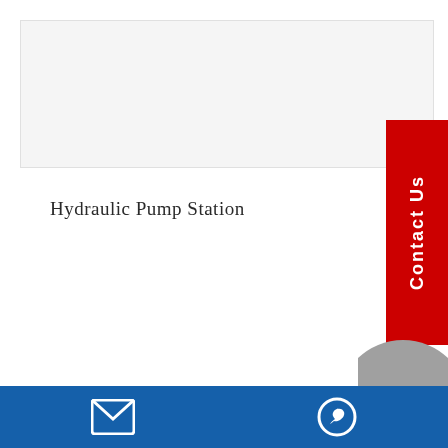[Figure (other): Light gray header band/placeholder area at the top of the page]
Hydraulic Pump Station
[Figure (illustration): Red vertical Contact Us sidebar tab on the right side]
[Figure (illustration): Gray partial arc/circle shape at bottom right above footer]
Footer bar with email icon and WhatsApp icon on blue background